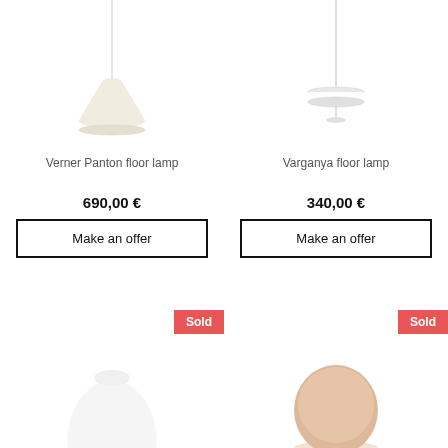[Figure (photo): Verner Panton pendant floor lamp, white, hanging from cord against white background]
[Figure (photo): Varganya floor lamp, white with disc shade, hanging from cord against white background]
Verner Panton floor lamp
Varganya floor lamp
690,00 €
340,00 €
Make an offer
Make an offer
[Figure (photo): White dome table lamp, partially visible at bottom of page, with Sold badge]
Sold
[Figure (photo): Beige/skin-colored round lamp, partially visible at bottom of page, with Sold badge]
Sold